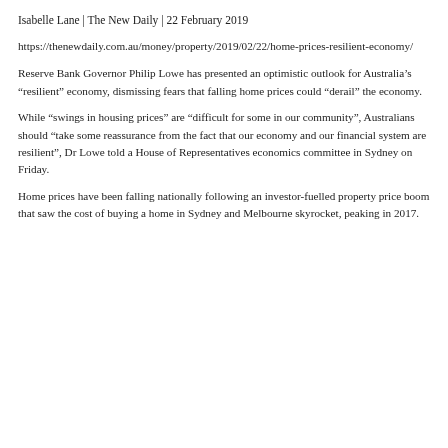Isabelle Lane | The New Daily | 22 February 2019
https://thenewdaily.com.au/money/property/2019/02/22/home-prices-resilient-economy/
Reserve Bank Governor Philip Lowe has presented an optimistic outlook for Australia’s “resilient” economy, dismissing fears that falling home prices could “derail” the economy.
While “swings in housing prices” are “difficult for some in our community”, Australians should “take some reassurance from the fact that our economy and our financial system are resilient”, Dr Lowe told a House of Representatives economics committee in Sydney on Friday.
Home prices have been falling nationally following an investor-fuelled property price boom that saw the cost of buying a home in Sydney and Melbourne skyrocket, peaking in 2017.